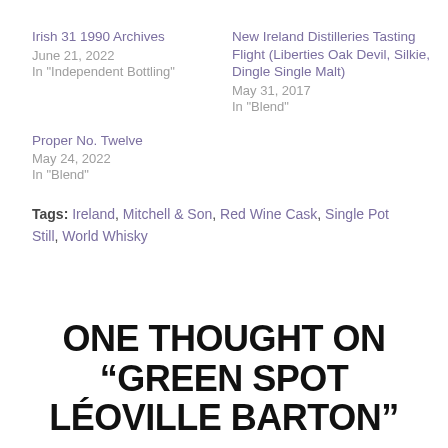Irish 31 1990 Archives
June 21, 2022
In "Independent Bottling"
New Ireland Distilleries Tasting Flight (Liberties Oak Devil, Silkie, Dingle Single Malt)
May 31, 2017
In "Blend"
Proper No. Twelve
May 24, 2022
In "Blend"
Tags: Ireland, Mitchell & Son, Red Wine Cask, Single Pot Still, World Whisky
ONE THOUGHT ON “GREEN SPOT LÉOVILLE BARTON”